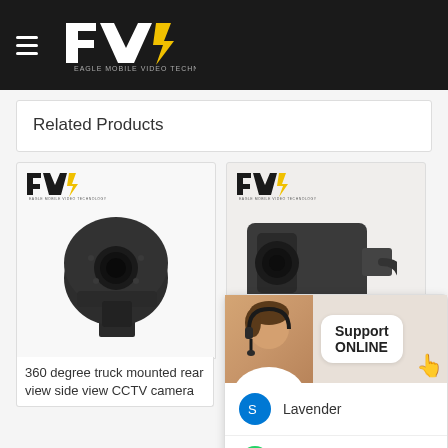[Figure (logo): EMV Eagle Mobile Video Technology logo in white on black header bar with hamburger menu icon]
Related Products
[Figure (photo): 360 degree truck mounted rear view side view CCTV camera - dark dome camera with bracket mount]
360 degree truck mounted rear view side view CCTV camera
[Figure (photo): 1080P 2.0M Camera With One Body Mini Car camera product image]
1080P 2.0M Camera With One Body Mini Car
[Figure (screenshot): Support ONLINE popup with customer support agent photo, Skype (Lavender), WhatsApp, and WeChat contact options]